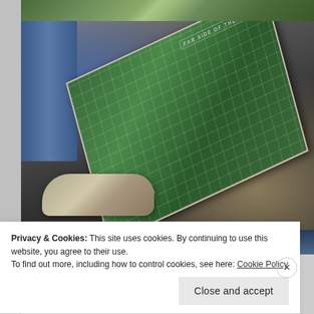[Figure (photo): Top strip photo showing green grass/ground outdoor scene]
[Figure (photo): Main photo showing a green box/board game labeled 'FAR SIDE OF THE MOON' with grid pattern, held near someone's feet wearing tan shoes and jeans, on pavement outdoors]
[Figure (photo): Bottom strip photo showing a partial outdoor scene]
Privacy & Cookies: This site uses cookies. By continuing to use this website, you agree to their use.
To find out more, including how to control cookies, see here: Cookie Policy
Close and accept